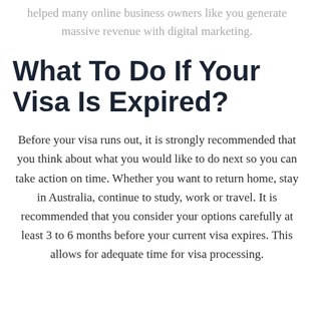helped many online business owners like you generate massive revenue with digital marketing.
What To Do If Your Visa Is Expired?
Before your visa runs out, it is strongly recommended that you think about what you would like to do next so you can take action on time. Whether you want to return home, stay in Australia, continue to study, work or travel. It is recommended that you consider your options carefully at least 3 to 6 months before your current visa expires. This allows for adequate time for visa processing.